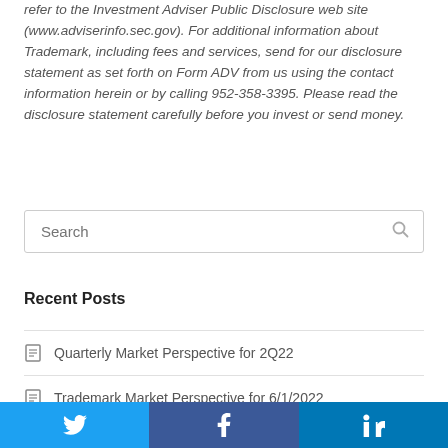refer to the Investment Adviser Public Disclosure web site (www.adviserinfo.sec.gov). For additional information about Trademark, including fees and services, send for our disclosure statement as set forth on Form ADV from us using the contact information herein or by calling 952-358-3395. Please read the disclosure statement carefully before you invest or send money.
[Figure (other): Search input box with search icon]
Recent Posts
Quarterly Market Perspective for 2Q22
Trademark Market Perspective for 6/1/2022
[Figure (infographic): Social media share bar with Twitter, Facebook, and LinkedIn buttons]